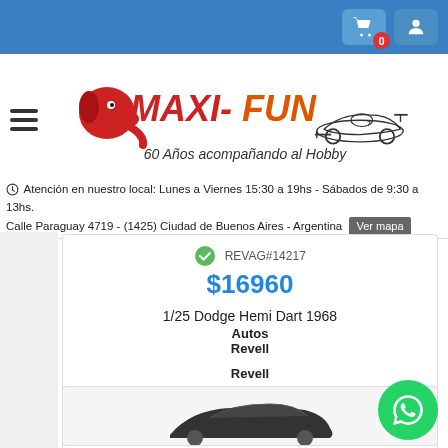Maxi-Fun - 60 Años acompañando al Hobby
Atención en nuestro local: Lunes a Viernes 15:30 a 19hs - Sábados de 9:30 a 13hs.
Calle Paraguay 4719 - (1425) Ciudad de Buenos Aires - Argentina  Ver mapa
REVAG#14217
$16960
1/25 Dodge Hemi Dart 1968
Autos
Revell

Revell
CANT.  AGREGAR 🛒
[Figure (screenshot): Partial view of a second product card showing a dark car model at the bottom of the page]
[Figure (other): WhatsApp floating action button (green circle with WhatsApp logo)]